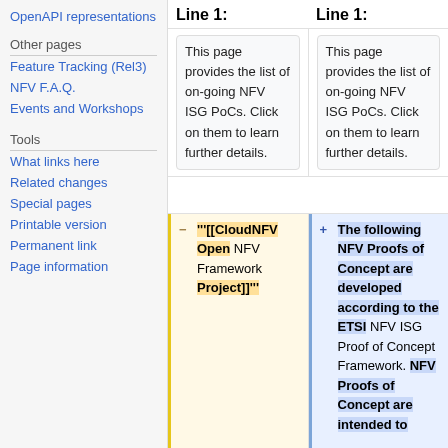OpenAPI representations
Other pages
Feature Tracking (Rel3)
NFV F.A.Q.
Events and Workshops
Tools
What links here
Related changes
Special pages
Printable version
Permanent link
Page information
Line 1:
Line 1:
This page provides the list of on-going NFV ISG PoCs. Click on them to learn further details.
This page provides the list of on-going NFV ISG PoCs. Click on them to learn further details.
'''[[CloudNFV Open NFV Framework Project]]'''
The following NFV Proofs of Concept are developed according to the ETSI NFV ISG Proof of Concept Framework. NFV Proofs of Concept are intended to